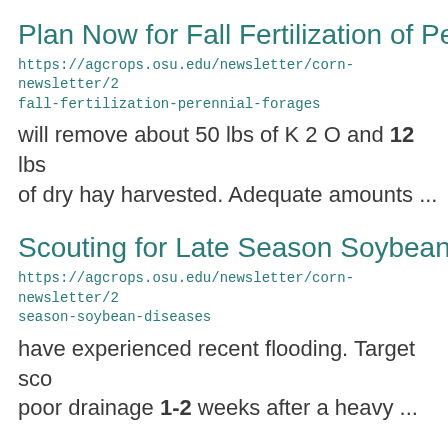Plan Now for Fall Fertilization of Per
https://agcrops.osu.edu/newsletter/corn-newsletter/2 fall-fertilization-perennial-forages
will remove about 50 lbs of K 2 O and 12 lbs of dry hay harvested. Adequate amounts ...
Scouting for Late Season Soybean Di
https://agcrops.osu.edu/newsletter/corn-newsletter/2 season-soybean-diseases
have experienced recent flooding. Target sco poor drainage 1-2 weeks after a heavy ...
All Puckered Up: Dicamba Drift Rem
https://agcrops.osu.edu/newsletter/corn-newsletter/2 dicamba-drift-reminders